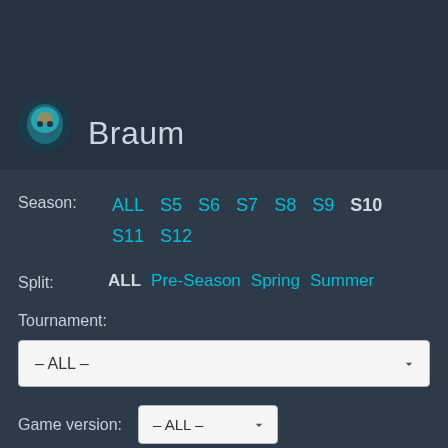Braum
Season: ALL S5 S6 S7 S8 S9 S10 S11 S12
Split: ALL Pre-Season Spring Summer
Tournament:
– ALL –
Game version: – ALL –